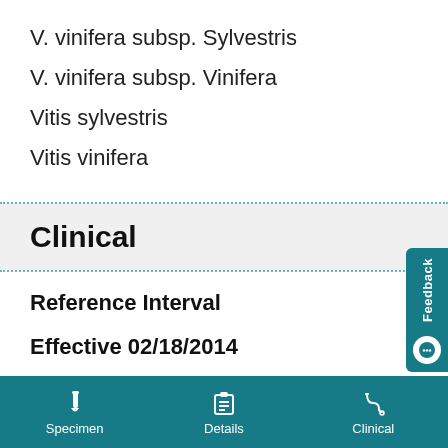V. vinifera subsp. Sylvestris
V. vinifera subsp. Vinifera
Vitis sylvestris
Vitis vinifera
Clinical
Reference Interval
Effective 02/18/2014
To see all available information for this test,
Specimen   Details   Clinical